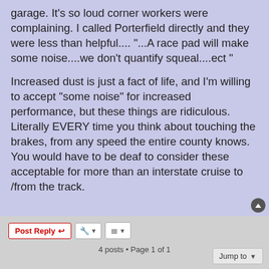garage. It's so loud corner workers were complaining. I called Porterfield directly and they were less than helpful.... "...A race pad will make some noise....we don't quantify squeal....ect "
Increased dust is just a fact of life, and I'm willing to accept "some noise" for increased performance, but these things are ridiculous. Literally EVERY time you think about touching the brakes, from any speed the entire county knows. You would have to be deaf to consider these acceptable for more than an interstate cruise to /from the track.
4 posts • Page 1 of 1